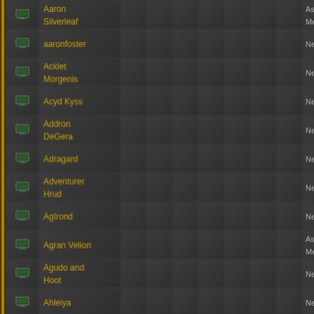| Icon | Name |  |  |  |  |  |  |  | Role |
| --- | --- | --- | --- | --- | --- | --- | --- | --- | --- |
| [icon] | Aaron Silverleaf |  |  |  |  |  |  |  | Aspiring Member |
| [icon] | aaronfoster |  |  |  |  |  |  |  | New |
| [icon] | Acklet Morgenis |  |  |  |  |  |  |  | New |
| [icon] | Acyd Kyss |  |  |  |  |  |  |  | New |
| [icon] | Addron DeGera |  |  |  |  |  |  |  | New |
| [icon] | Adragard |  |  |  |  |  |  |  | New |
| [icon] | Adventurer Hrud |  |  |  |  |  |  |  | New |
| [icon] | AgIrond |  |  |  |  |  |  |  | New |
| [icon] | Agran Velion |  |  |  |  |  |  |  | Aspiring Member |
| [icon] | Agudo and Hoot |  |  |  |  |  |  |  | New |
| [icon] | Ahleiya |  |  |  |  |  |  |  | New |